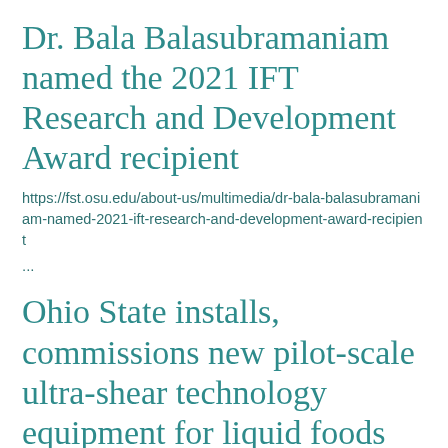Dr. Bala Balasubramaniam named the 2021 IFT Research and Development Award recipient
https://fst.osu.edu/about-us/multimedia/dr-bala-balasubramaniam-named-2021-ift-research-and-development-award-recipient
...
Ohio State installs, commissions new pilot-scale ultra-shear technology equipment for liquid foods and beverages processing
https://fst.osu.edu/news/ohio-state-installs-commissions-new-pilot-scale-ultra-shear-technology-equipment-liquid-foods
Subject(S5.15b) Resources: here and...